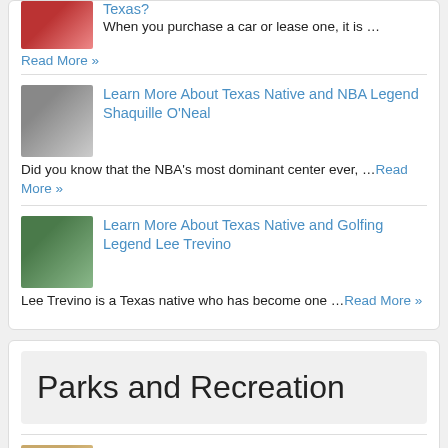Texas?
When you purchase a car or lease one, it is …
Read More »
Learn More About Texas Native and NBA Legend Shaquille O'Neal
Did you know that the NBA's most dominant center ever, …Read More »
Learn More About Texas Native and Golfing Legend Lee Trevino
Lee Trevino is a Texas native who has become one …Read More »
Parks and Recreation
Learn About Palo Duro Canyon